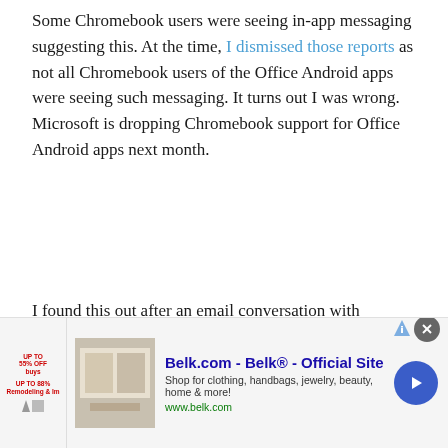Some Chromebook users were seeing in-app messaging suggesting this. At the time, I dismissed those reports as not all Chromebook users of the Office Android apps were seeing such messaging. It turns out I was wrong. Microsoft is dropping Chromebook support for Office Android apps next month.
I found this out after an email conversation with Microsoft's PR department yesterday. I had reached out because a reader of the site pinged me on Twitter, saying he had just seen the message that began appearing for some Chromebook users.
[Figure (photo): A person wearing a white hard hat leaning forward and holding a green seedling plant, with trees in the background.]
Belk.com - Belk® - Official Site Shop for clothing, handbags, jewelry, beauty, home & more! www.belk.com